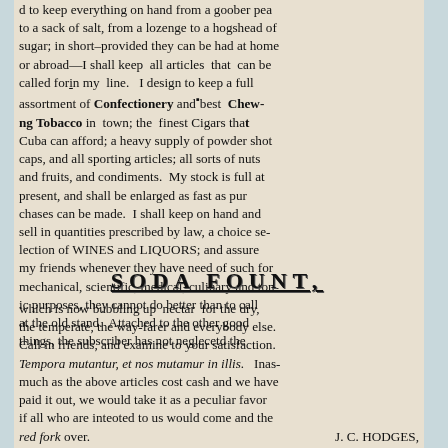d to keep everything on hand from a goober pea to a sack of salt, from a lozenge to a hogshead of sugar; in short–provided they can be had at home or abroad—I shall keep all articles that can be called for in my line. I design to keep a full assortment of Confectionery and best Chewing Tobacco in town; the finest Cigars that Cuba can afford; a heavy supply of powder shot caps, and all sporting articles; all sorts of nuts and fruits, and condiments. My stock is full at present, and shall be enlarged as fast as purchases can be made. I shall keep on hand and sell in quantities prescribed by law, a choice selection of WINES and LIQUORS; and assure my friends whenever they have need of such for mechanical, scientific, medical, culinary and tonic purposes, they cannot do better than to call at the old stand. Attached to the other good things, the subscriber has not neglecetd the
SODA FOUNT,
which is now bubbling up nectar for the dry, the temperate, the way-farer and everybody else. Call in friends, and examine to your satisfaction. Tempora mutantur et nos mutamur in illis. Inasmuch as the above articles cost cash and we have paid it out, we would take it as a peculiar favor if all who are inteoted to us would come and the red fork over.                          J. C. HODGES, W. side pub. sq. next to the Washington House